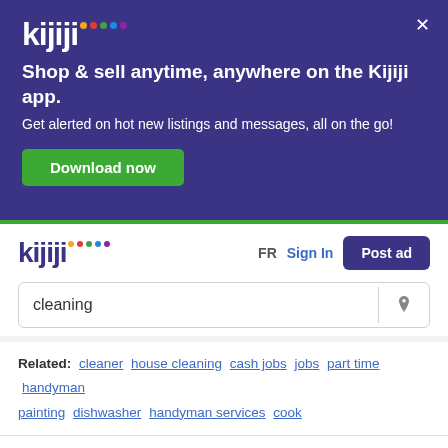[Figure (logo): Kijiji logo with colored dots on dark purple banner background]
Shop & sell anytime, anywhere on the Kijiji app.
Get alerted on hot new listings and messages, all on the go!
Download now
[Figure (logo): Kijiji logo with colored dots, navigation bar with FR, Sign In, Post ad]
cleaning
Related:  cleaner  house cleaning  cash jobs  jobs  part time  handyman  painting  dishwasher  handyman services  cook
Home › Services › Cleaners & Cleaning in Cranbrook › Results for "cleaning"